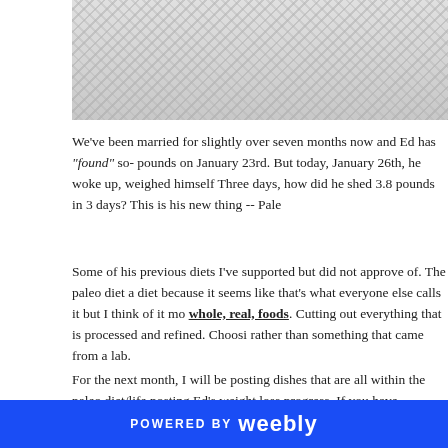[Figure (photo): Close-up photo of a woven wicker or rattan texture pattern, light gray tones]
We've been married for slightly over seven months now and Ed has "found" so- pounds on January 23rd. But today, January 26th, he woke up, weighed himself Three days, how did he shed 3.8 pounds in 3 days? This is his new thing -- Pale
Some of his previous diets I've supported but did not approve of. The paleo diet a diet because it seems like that's what everyone else calls it but I think of it mo whole, real, foods. Cutting out everything that is processed and refined. Choosi rather than something that came from a lab.
I was pleasantly amazed at what three days of changing to a paleo lifestyle did f used organic, grass-fed, whole milk in our coffee in the morning. But other than paleo guidelines. When he put on his suit this morning, he looked trimmer arou made his retain less water weight). His face looked less blotchy and pink (his ac sensitive skin).
For the next month, I will be posting dishes that are all within the paleo diet/life posting Ed's weight loss progress. If you have struggled with weight loss, still a
POWERED BY weebly